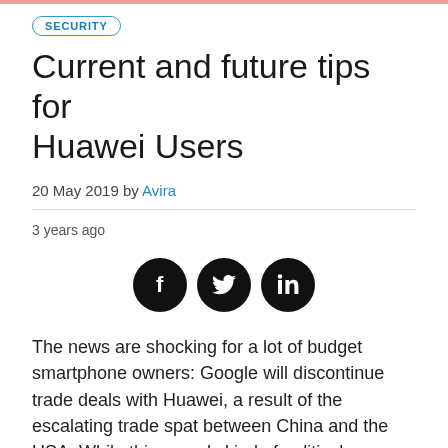SECURITY
Current and future tips for Huawei Users
20 May 2019 by Avira
3 years ago
[Figure (other): Social share icons: Facebook, Twitter, LinkedIn — black circular buttons]
The news are shocking for a lot of budget smartphone owners: Google will discontinue trade deals with Huawei, a result of the escalating trade spat between China and the USA. While this sounds kind of political